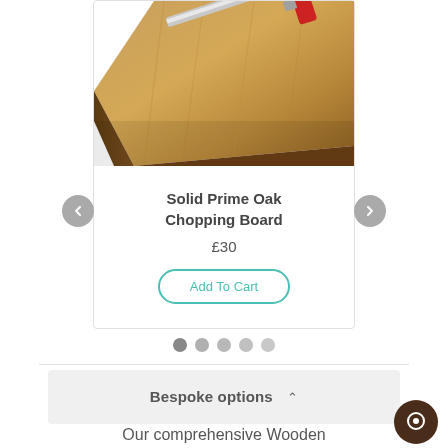[Figure (photo): Partial view of a solid oak chopping board with a knife resting on it, warm wood grain visible]
Solid Prime Oak Chopping Board
£30
Add To Cart
Bespoke options
Our comprehensive Wooden